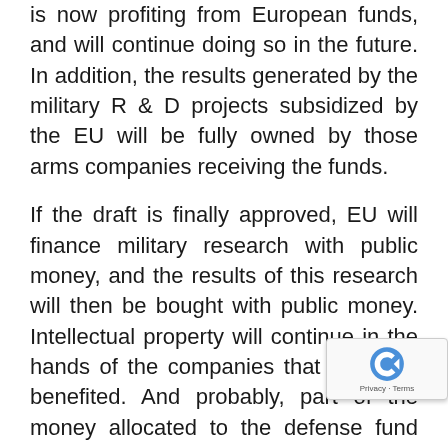is now profiting from European funds, and will continue doing so in the future. In addition, the results generated by the military R & D projects subsidized by the EU will be fully owned by those arms companies receiving the funds.
If the draft is finally approved, EU will finance military research with public money, and the results of this research will then be bought with public money. Intellectual property will continue in the hands of the companies that will have benefited. And probably, part of the money allocated to the defense fund will come from reductions on EU civil program fu... If the EU intends to contribute to the...